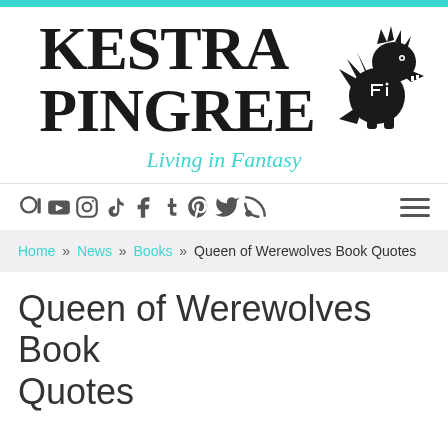[Figure (logo): Kestra Pingree logo with large serif text and a black dragon/wolf silhouette illustration on the right]
Living in Fantasy
Social media icons: Patreon, YouTube, Instagram, TikTok, Facebook, Tumblr, Pinterest, Twitter, RSS feed. Hamburger menu icon on right.
Home » News » Books » Queen of Werewolves Book Quotes
Queen of Werewolves Book Quotes